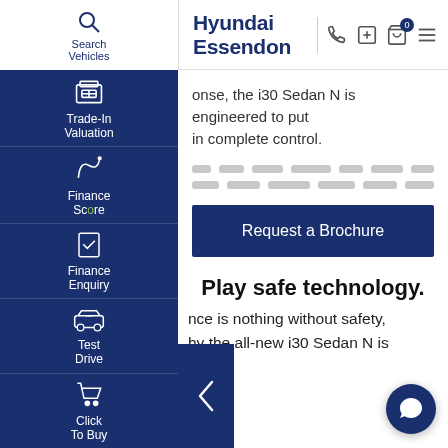Hyundai Essendon
onse, the i30 Sedan N is engineered to put in complete control.
[Figure (other): Skeleton placeholder lines simulating loading content]
[Figure (other): Request a Brochure button (dark navy blue)]
Play safe technology.
nce is nothing without safety, why the all-new i30 Sedan N is